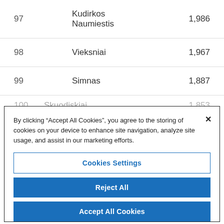| # | City | Population |
| --- | --- | --- |
| 97 | Kudirkos Naumiestis | 1,986 |
| 98 | Vieksniai | 1,967 |
| 99 | Simnas | 1,887 |
| 100 | Skuodiskiai | 1,853 |
By clicking “Accept All Cookies”, you agree to the storing of cookies on your device to enhance site navigation, analyze site usage, and assist in our marketing efforts.
Cookies Settings
Reject All
Accept All Cookies